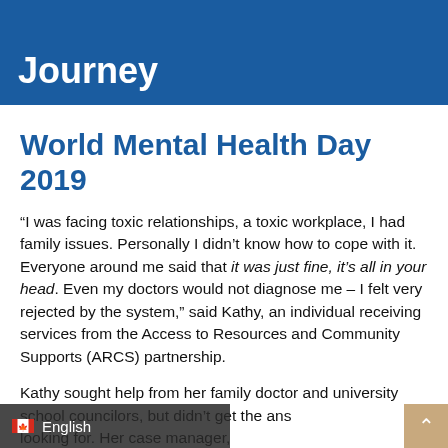Kathy's Recovery Journey
World Mental Health Day 2019
“I was facing toxic relationships, a toxic workplace, I had family issues. Personally I didn’t know how to cope with it. Everyone around me said that it was just fine, it’s all in your head. Even my doctors would not diagnose me – I felt very rejected by the system,” said Kathy, an individual receiving services from the Access to Resources and Community Supports (ARCS) partnership.
Kathy sought help from her family doctor and university school councilors, but didn’t get the answers she was looking for. Her case manager, Da… said “often people don’t get taken